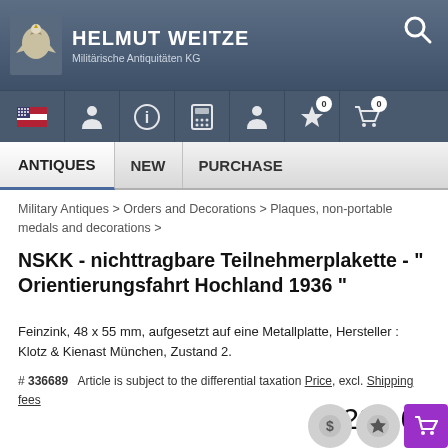HELMUT WEITZE Militärische Antiquitäten KG
Military Antiques > Orders and Decorations > Plaques, non-portable medals and decorations >
NSKK - nichttragbare Teilnehmerplakette - " Orientierungsfahrt Hochland 1936 "
Feinzink, 48 x 55 mm, aufgesetzt auf eine Metallplatte, Hersteller : Klotz & Kienast München, Zustand 2.
# 336689  Article is subject to the differential taxation Price, excl. Shipping fees
€ 220,00